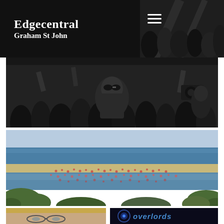Edgecentral
Graham St John
[Figure (photo): Black and white photograph of a crowd at a music event or festival, visible in upper right corner behind header]
[Figure (photo): Black and white photograph of a large crowd at an indoor event or club, a man with sunglasses prominent in center]
[Figure (photo): Color aerial photograph of a large outdoor festival crowd on a beach and waterway, with vegetation in foreground and sea in background]
[Figure (photo): Bottom left: close-up color photograph of a person with glasses]
[Figure (photo): Bottom right: graphic/logo reading 'Overlords' in stylized text on dark background]